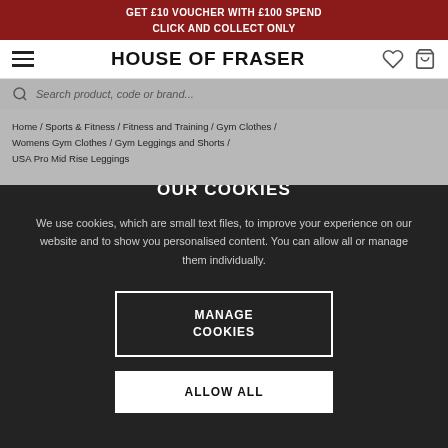GET £10 VOUCHER WITH £100 SPEND
CLICK AND COLLECT ONLY
[Figure (screenshot): House of Fraser navigation header with hamburger menu, logo, heart icon, and bag icon]
[Figure (screenshot): Search bar with magnifying glass icon and placeholder text 'Search product, code or brand...']
Home / Sports & Fitness / Fitness and Training / Gym Clothes / Womens Gym Clothes / Gym Leggings and Shorts / USA Pro Mid Rise Leggings
OUR COOKIES
We use cookies, which are small text files, to improve your experience on our website and to show you personalised content. You can allow all or manage them individually.
MANAGE COOKIES
ALLOW ALL